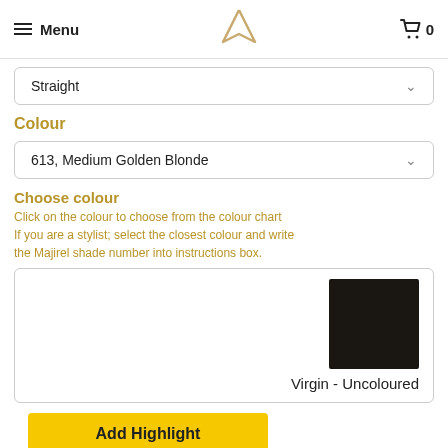Menu | V | 0
Straight
Colour
613, Medium Golden Blonde
Choose colour
Click on the colour to choose from the colour chart
If you are a stylist; select the closest colour and write the Majirel shade number into instructions box.
[Figure (photo): Dark brown/black hair colour swatch labelled Virgin - Uncoloured]
Add Highlight
Instructions
please add any further instructions for your or